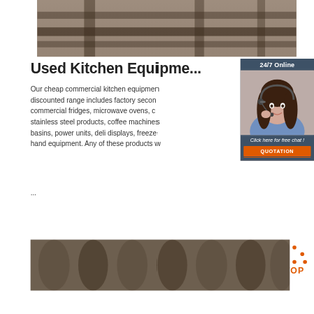[Figure (photo): Close-up photo of metal rails or industrial beams from above]
Used Kitchen Equipment
Our cheap commercial kitchen equipment discounted range includes factory seconds, commercial fridges, microwave ovens, commercial stainless steel products, coffee machines, basins, power units, deli displays, freezers and second hand equipment. Any of these products w...
...
[Figure (infographic): 24/7 Online chat widget with customer service agent photo, 'Click here for free chat!' text, and orange QUOTATION button]
[Figure (illustration): Orange TOP icon with house/dots shape above the word TOP]
[Figure (photo): Close-up photo of cylindrical metal or pipe-like objects]
Get Price